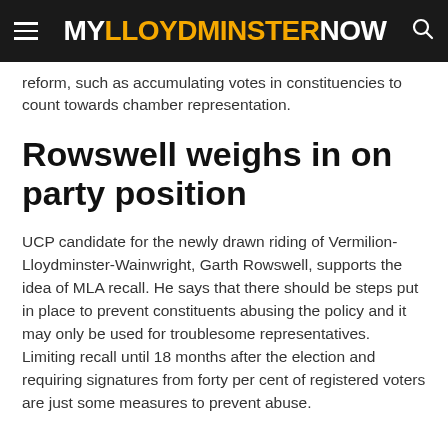MY LLOYDMINSTER NOW
reform, such as accumulating votes in constituencies to count towards chamber representation.
Rowswell weighs in on party position
UCP candidate for the newly drawn riding of Vermilion-Lloydminster-Wainwright, Garth Rowswell, supports the idea of MLA recall. He says that there should be steps put in place to prevent constituents abusing the policy and it may only be used for troublesome representatives. Limiting recall until 18 months after the election and requiring signatures from forty per cent of registered voters are just some measures to prevent abuse.